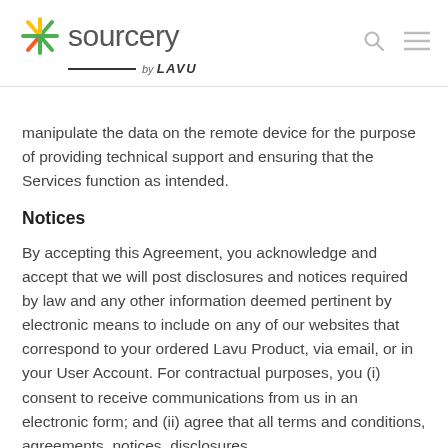Sourcery by LAVU
manipulate the data on the remote device for the purpose of providing technical support and ensuring that the Services function as intended.
Notices
By accepting this Agreement, you acknowledge and accept that we will post disclosures and notices required by law and any other information deemed pertinent by electronic means to include on any of our websites that correspond to your ordered Lavu Product, via email, or in your User Account. For contractual purposes, you (i) consent to receive communications from us in an electronic form; and (ii) agree that all terms and conditions, agreements, notices, disclosures,